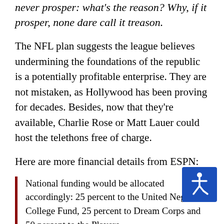never prosper: what's the reason? Why, if it prosper, none dare call it treason.
The NFL plan suggests the league believes undermining the foundations of the republic is a potentially profitable enterprise. They are not mistaken, as Hollywood has been proving for decades. Besides, now that they're available, Charlie Rose or Matt Lauer could host the telethons free of charge.
Here are more financial details from ESPN:
National funding would be allocated accordingly: 25 percent to the United Negro College Fund, 25 percent to Dream Corps and 50 percent to the Players